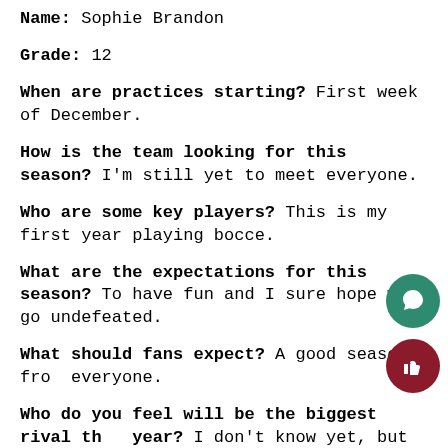Name: Sophie Brandon
Grade: 12
When are practices starting? First week of December.
How is the team looking for this season? I'm still yet to meet everyone.
Who are some key players? This is my first year playing bocce.
What are the expectations for this season? To have fun and I sure hope we go undefeated.
What should fans expect? A good season from everyone.
Who do you feel will be the biggest rival this year? I don't know yet, but I hope for a good